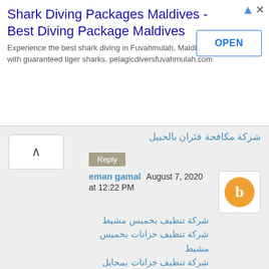[Figure (screenshot): Advertisement banner for Shark Diving Packages Maldives with OPEN button]
شركة مكافحة فئران بالحبيل
Reply
eman gamal  August 7, 2020 at 12:22 PM
شركة تنظيف بخميس مشيط
شركة تنظيف خزانات بخميس مشيط
شركة تنظيف خزانات بمحايل عسير
شركة تنظيف خزانات ببيشة
شركة تنظيف خزانات بوادي بن هشيل
شركة تسليك مجاري بأحد رفيدة
Reply
seo  August 8, 2020 at 12:28 AM
En ucuz uçak bileti fiyatları RotaRadar'da. Onlarca seyahat acentasının ucuz uçak bileti fiyatlarını karşılaştır. En uygun uçak biletlerini bul, karşılaştır. ucuz uçak bileti